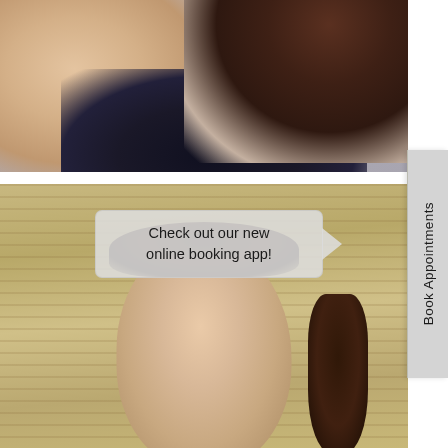[Figure (photo): Woman in black strapless/tube top viewed from the side, with long dark brown hair, against a light gray background. Only the torso and hair are visible, head partially cut off at top.]
[Figure (photo): Young woman with dark hair in a side braid, looking at the camera with a slight smile and pink lipstick. Background shows horizontal wooden slat planks in warm tan/beige tones. A speech bubble overlay reads 'Check out our new online booking app!']
Check out our new online booking app!
Book Appointments